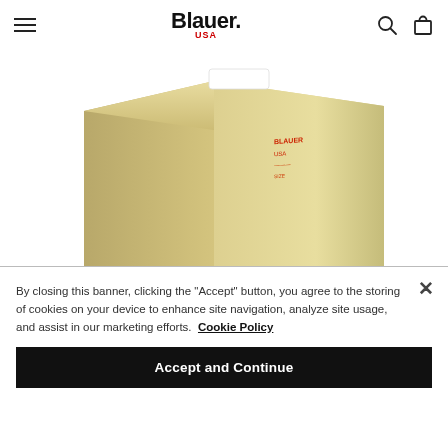Blauer USA — navigation header with hamburger menu, logo, search icon, and cart icon
[Figure (photo): A golden/tan colored rectangular box or shelf product displayed at an angle against a white background, with small red text on the front panel and a white label element on top.]
By closing this banner, clicking the "Accept" button, you agree to the storing of cookies on your device to enhance site navigation, analyze site usage, and assist in our marketing efforts. Cookie Policy
Accept and Continue